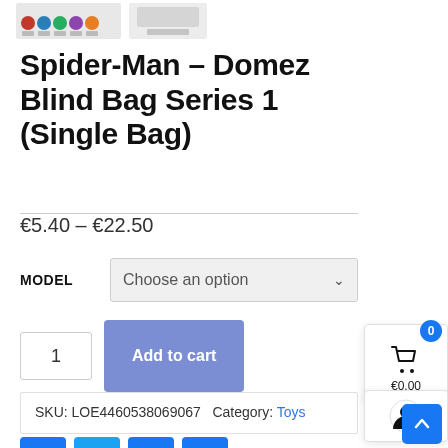[Figure (photo): Two product thumbnail images showing Spider-Man Domez figures at the top of the page]
Spider-Man – Domez Blind Bag Series 1 (Single Bag)
€5.40 – €22.50
MODEL   Choose an option
1   Add to cart
SKU: LOE4460538069067  Category: Toys
[Figure (infographic): Social share buttons: Facebook, Twitter, Email, Plus]
[Figure (infographic): Cart popup showing 0 items and €0.00]
[Figure (infographic): User account icon]
[Figure (infographic): Back to top button (blue arrow up)]